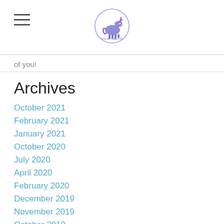[hamburger menu icon] [logo: unicorn circle icon]
of you!
Archives
October 2021
February 2021
January 2021
October 2020
July 2020
April 2020
February 2020
December 2019
November 2019
October 2019
August 2019
July 2019
June 2019
March 2019